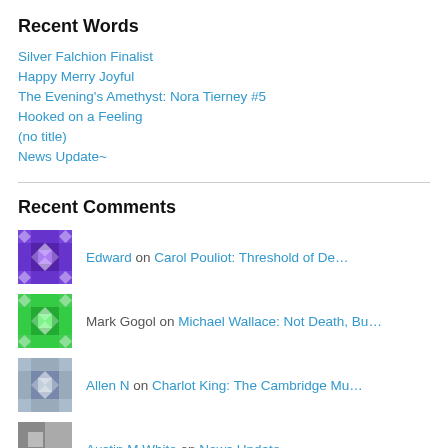Recent Words
Silver Falchion Finalist
Happy Merry Joyful
The Evening's Amethyst: Nora Tierney #5
Hooked on a Feeling
(no title)
News Update~
Recent Comments
Edward on Carol Pouliot: Threshold of De…
Mark Gogol on Michael Wallace: Not Death, Bu…
Allen N on Charlot King: The Cambridge Mu…
Austin M White on News Update~